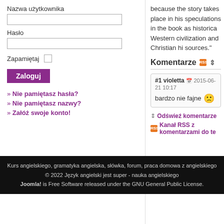Nazwa użytkownika
Hasło
Zapamiętaj
Zaloguj
Nie pamiętasz hasła?
Nie pamiętasz nazwy?
Załóż swoje konto!
because the story takes place in his speculations in the book as historica Western civilization and Christian hi sources."
Komentarze
#1 violetta 2015-06-21 10:17
bardzo nie fajne 🙁
Odświeź komentarze
Kanał RSS z komentarzami do te
Kurs angielskiego, gramatyka angielska, słówka, forum, praca domowa z angielskiego
© 2022 Język angielski jest super - nauka angielskiego
Joomla! is Free Software released under the GNU General Public License.